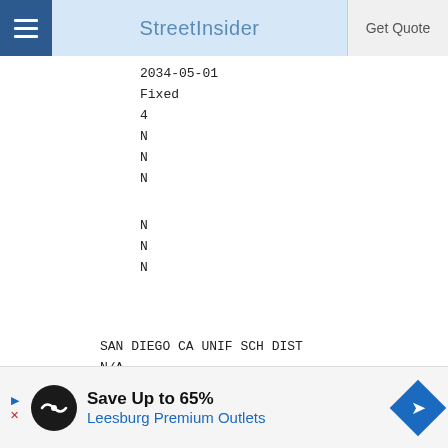StreetInsider | Get Quote
2034-05-01
Fixed
4
N
N
N
N
N
N
SAN DIEGO CA UNIF SCH DIST
N/A
7973555Y6
[Figure (other): Advertisement banner: Save Up to 65% Leesburg Premium Outlets]